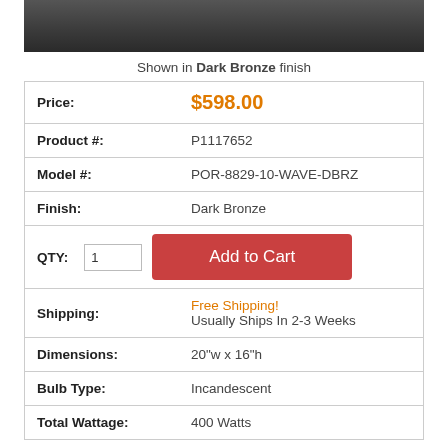[Figure (photo): Product image showing dark bronze finish light fixture, top portion visible with dark gray/charcoal gradient background]
Shown in Dark Bronze finish
| Field | Value |
| --- | --- |
| Price: | $598.00 |
| Product #: | P1117652 |
| Model #: | POR-8829-10-WAVE-DBRZ |
| Finish: | Dark Bronze |
| QTY: | 1 | Add to Cart |
| Shipping: | Free Shipping!
Usually Ships In 2-3 Weeks |
| Dimensions: | 20"w x 16"h |
| Bulb Type: | Incandescent |
| Total Wattage: | 400 Watts |